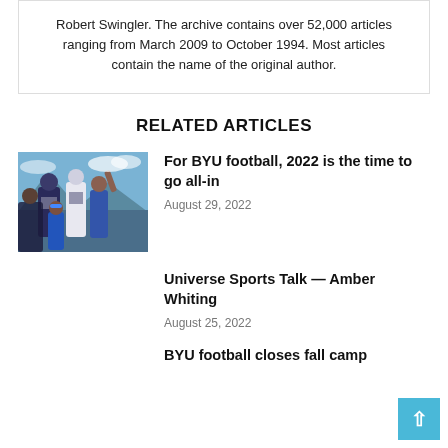Robert Swingler. The archive contains over 52,000 articles ranging from March 2009 to October 1994. Most articles contain the name of the original author.
RELATED ARTICLES
[Figure (photo): BYU football players celebrating on a field with mountains in the background]
For BYU football, 2022 is the time to go all-in
August 29, 2022
Universe Sports Talk — Amber Whiting
August 25, 2022
BYU football closes fall camp